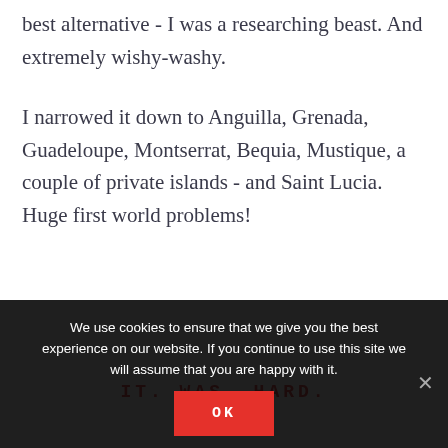best alternative - I was a researching beast. And extremely wishy-washy.
I narrowed it down to Anguilla, Grenada, Guadeloupe, Montserrat, Bequia, Mustique, a couple of private islands - and Saint Lucia. Huge first world problems!
IT. WAS. HARD.
Ma de cl e i n t h i nk i n g a b o u t t h e v a c a t i o n a n d
We use cookies to ensure that we give you the best experience on our website. If you continue to use this site we will assume that you are happy with it.
OK